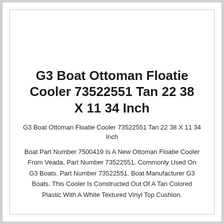G3 Boat Ottoman Floatie Cooler 73522551 Tan 22 38 X 11 34 Inch
G3 Boat Ottoman Floatie Cooler 73522551 Tan 22 38 X 11 34 Inch
Boat Part Number 7500419 Is A New Ottoman Floatie Cooler From Veada, Part Number 73522551. Commonly Used On G3 Boats. Part Number 73522551. Boat Manufacturer G3 Boats. This Cooler Is Constructed Out Of A Tan Colored Plastic With A White Textured Vinyl Top Cushion.